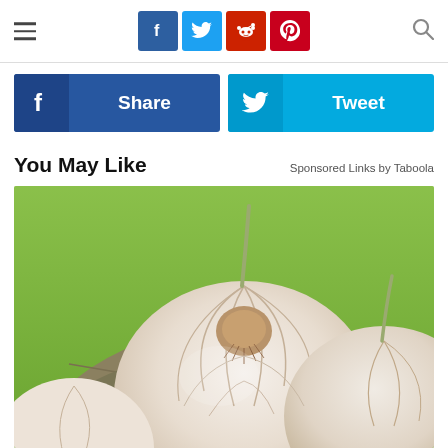Navigation header with hamburger menu, social share icons (Facebook, Twitter, Reddit, Pinterest), and search icon
[Figure (infographic): Share and Tweet social media buttons row. Left: Facebook Share button (dark blue). Right: Twitter Tweet button (light blue).]
You May Like
Sponsored Links by Taboola
[Figure (photo): Close-up photo of whole garlic bulbs and bay leaves on a green background.]